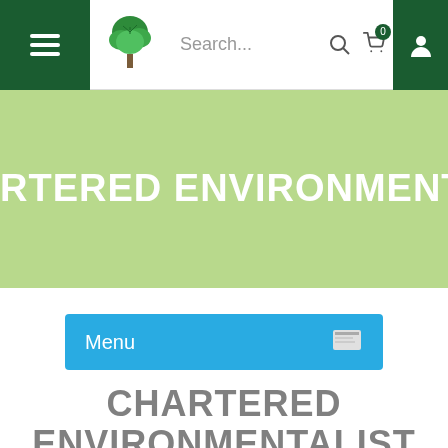[Figure (screenshot): Navigation bar with hamburger menu (dark green background), tree logo, search bar with 'Search...' placeholder, search icon, cart icon with badge '0', and user account icon on dark green background]
[Figure (screenshot): Light green hero banner with white bold text 'RTERED ENVIRONMENTALIST (C' partially visible, cut off on both sides]
[Figure (screenshot): Blue menu button with white text 'Menu' and a document icon on the right]
CHARTERED ENVIRONMENTALIST